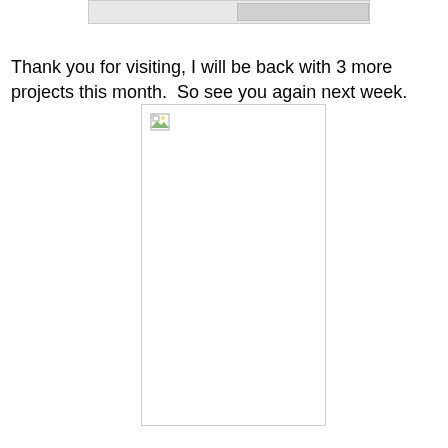[Figure (other): Partial top image strip showing a cropped screenshot or image at the top of the page]
Thank you for visiting, I will be back with 3 more projects this month.  So see you again next week.
[Figure (other): Broken/missing image placeholder with a small broken image icon in the top-left corner, displayed as a white rectangle with a light gray border]